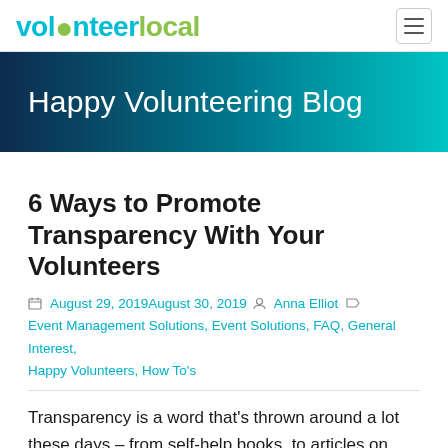volunteerlocal
[Figure (other): Happy Volunteering Blog hero banner with gradient background from dark navy to teal]
6 Ways to Promote Transparency With Your Volunteers
August 29, 2019August 30, 2019  Anna Elliot  Event Management Solutions, Event Solutions, FAQ, General Interest, Happy Volunteers, How To's
Transparency is a word that's thrown around a lot these days – from self-help books, to articles on workplace culture, to relationship goals – and for good reasons. One of which being that people don't